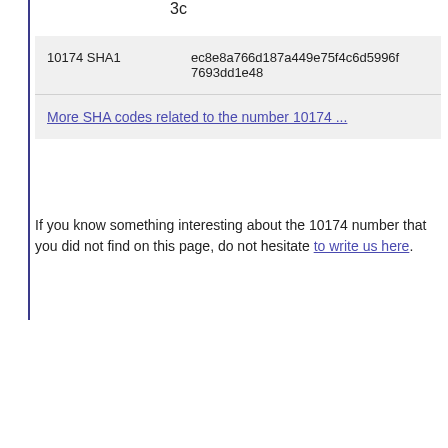3c
| 10174 SHA1 | ec8e8a766d187a449e75f4c6d5996f7693dd1e48 |
More SHA codes related to the number 10174 ...
If you know something interesting about the 10174 number that you did not find on this page, do not hesitate to write us here.